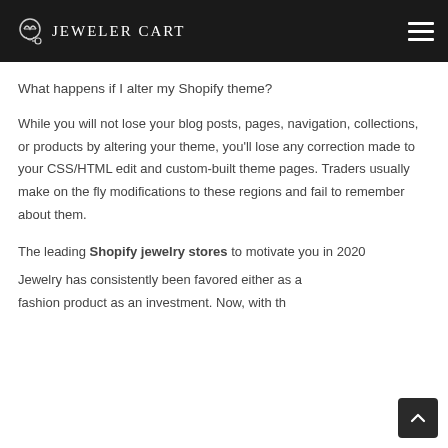Jeweler Cart
What happens if I alter my Shopify theme?
While you will not lose your blog posts, pages, navigation, collections, or products by altering your theme, you'll lose any correction made to your CSS/HTML edit and custom-built theme pages. Traders usually make on the fly modifications to these regions and fail to remember about them.
The leading Shopify jewelry stores to motivate you in 2020
Jewelry has consistently been favored either as a fashion product or as an investment. Now, with th